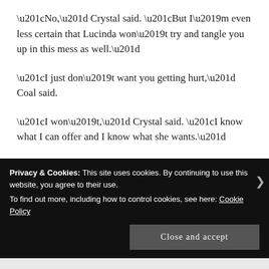“No,” Crystal said. “But I’m even less certain that Lucinda won’t try and tangle you up in this mess as well.”
“I just don’t want you getting hurt,” Coal said.
“I won’t,” Crystal said. “I know what I can offer and I know what she wants.”
“That doesn’t mean much,” Coal counseled. “Don’t take anymore risks than you absolutely have to.”
Privacy & Cookies: This site uses cookies. By continuing to use this website, you agree to their use.
To find out more, including how to control cookies, see here: Cookie Policy